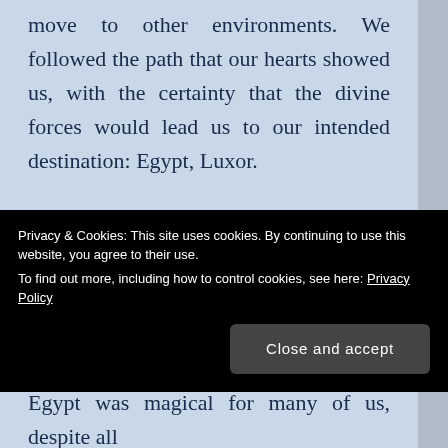move to other environments. We followed the path that our hearts showed us, with the certainty that the divine forces would lead us to our intended destination: Egypt, Luxor.
You may wonder why a spiritual flame must be carried by “mere mortals”. Many tend to believe that such things should happen magically, but there are physical laws that
Privacy & Cookies: This site uses cookies. By continuing to use this website, you agree to their use.
To find out more, including how to control cookies, see here: Privacy Policy
Egypt was magical for many of us, despite all